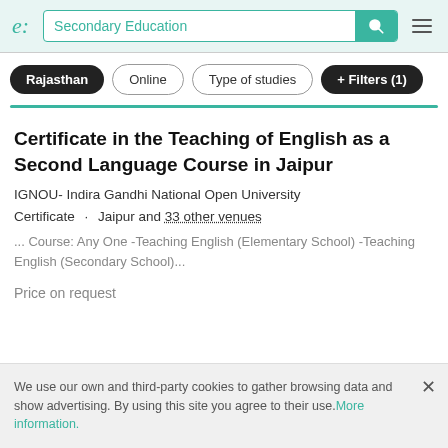e: Secondary Education [search bar with teal button] [hamburger menu]
Rajasthan
Online
Type of studies
+ Filters (1)
Certificate in the Teaching of English as a Second Language Course in Jaipur
IGNOU- Indira Gandhi National Open University
Certificate · Jaipur and 33 other venues
... Course: Any One -Teaching English (Elementary School) -Teaching English (Secondary School)...
Price on request
We use our own and third-party cookies to gather browsing data and show advertising. By using this site you agree to their use. More information.